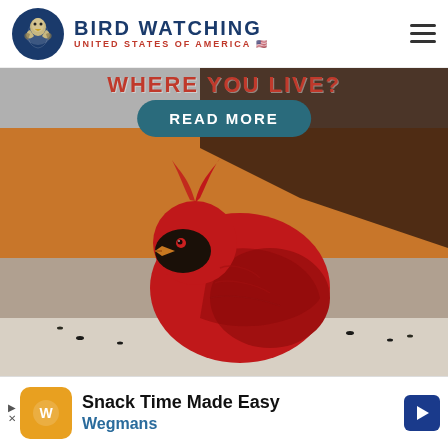BIRD WATCHING — UNITED STATES OF AMERICA
[Figure (photo): Partial heading text reading 'Where You Live?' in red text, a teal 'READ MORE' button, and a close-up photo of a bright red male Northern Cardinal bird perched on a surface with seeds, with a blurred orange and grey background]
[Figure (infographic): Advertisement banner: Wegmans 'Snack Time Made Easy' ad with orange icon, text, and blue arrow button]